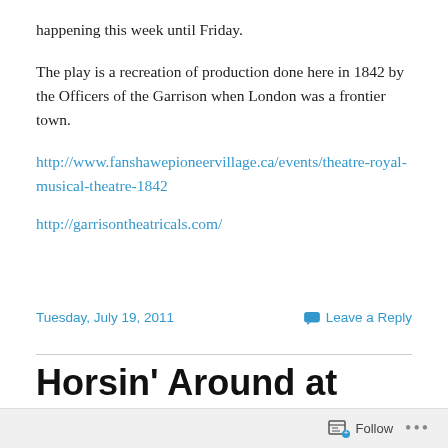happening this week until Friday.
The play is a recreation of production done here in 1842 by the Officers of the Garrison when London was a frontier town.
http://www.fanshawepioneervillage.ca/events/theatre-royal-musical-theatre-1842
http://garrisontheatricals.com/
Tuesday, July 19, 2011
Leave a Reply
Horsin' Around at Singing Brook Farm